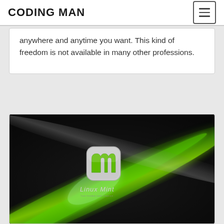CODING MAN
anywhere and anytime you want. This kind of freedom is not available in many other professions.
[Figure (screenshot): Linux Mint wallpaper featuring the Linux Mint logo (green and silver stylized 'm' in a rounded square) on a dark background with flowing green and gray light streaks. The text 'Linux Mint' appears below the logo.]